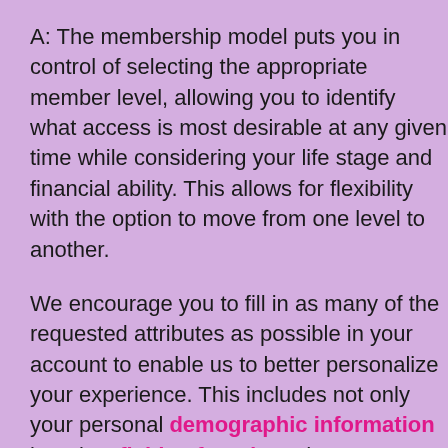A: The membership model puts you in control of selecting the appropriate member level, allowing you to identify what access is most desirable at any given time while considering your life stage and financial ability. This allows for flexibility with the option to move from one level to another.
We encourage you to fill in as many of the requested attributes as possible in your account to enable us to better personalize your experience. This includes not only your personal demographic information but also, fields of study and engagement with Affiliated Societies.